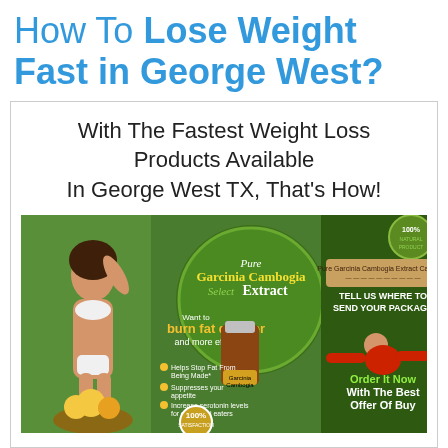How To Lose Weight Fast in George West?
With The Fastest Weight Loss Products Available In George West TX, That's How!
[Figure (infographic): Advertisement banner for Pure Garcinia Cambogia Select Extract showing a smiling woman in white bikini, product bottles, green circular logo, bullet points about benefits (Helps Stop Fat From Being Made, Suppresses your appetite, Increase serotonin levels for emotional eaters), 100% Satisfaction badge, and a call-to-action on right side reading 'TELL US WHERE TO SEND YOUR PACKAGE' and 'Order It Now With The Best Offer Of Buy']